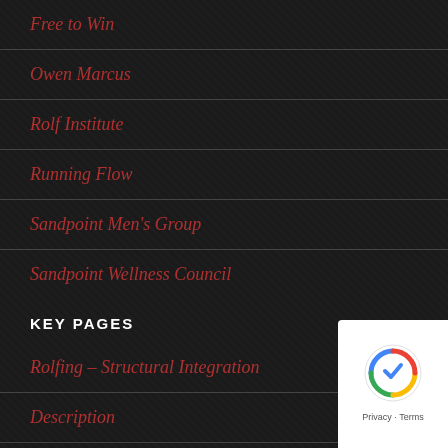Free to Win
Owen Marcus
Rolf Institute
Running Flow
Sandpoint Men's Group
Sandpoint Wellness Council
KEY PAGES
Rolfing – Structural Integration
Description
More Info
FAQ's
[Figure (logo): reCAPTCHA badge with Privacy and Terms links]